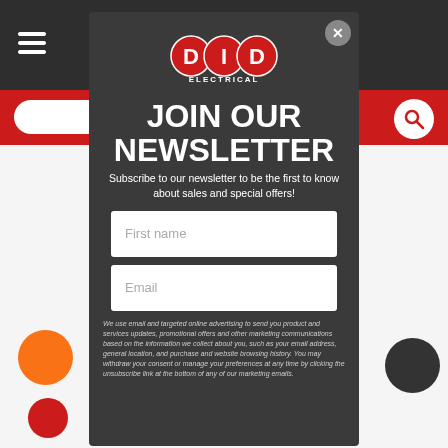[Figure (logo): DID Electrical logo — three red circles each containing white letters D, I, D arranged horizontally, with ELECTRICAL text below]
JOIN OUR NEWSLETTER
Subscribe to our newsletter to be the first to know about sales and special offers!
First name
Email
We use email and targeted online advertising to send you product and services updates, promotional offers and other marketing communications based on the information we collect about you, such as your email address, general location, and purchase and website browsing history. You may withdraw your consent or manage your preferences at any time by clicking the unsubscribe link at the bottom of any of our marketing emails.